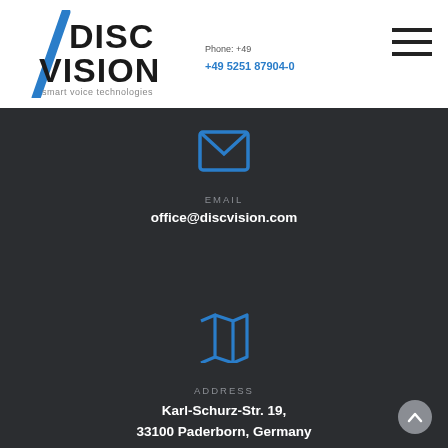[Figure (logo): DiscVision smart voice technologies logo with blue slash and text]
+49 5251 87904-0
[Figure (other): Hamburger menu icon with three horizontal lines]
EMAIL
office@discvision.com
ADDRESS
Karl-Schurz-Str. 19, 33100 Paderborn, Germany